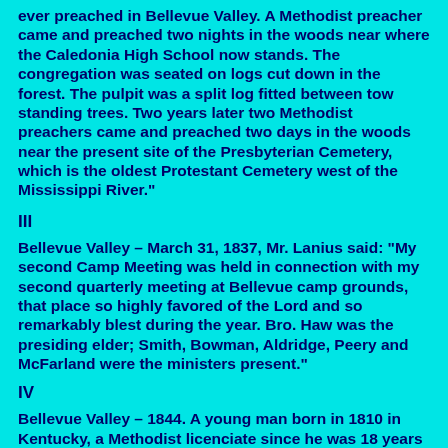ever preached in Bellevue Valley. A Methodist preacher came and preached two nights in the woods near where the Caledonia High School now stands. The congregation was seated on logs cut down in the forest. The pulpit was a split log fitted between tow standing trees. Two years later two Methodist preachers came and preached two days in the woods near the present site of the Presbyterian Cemetery, which is the oldest Protestant Cemetery west of the Mississippi River."
III
Bellevue Valley – March 31, 1837, Mr. Lanius said: "My second Camp Meeting was held in connection with my second quarterly meeting at Bellevue camp grounds, that place so highly favored of the Lord and so remarkably blest during the year. Bro. Haw was the presiding elder; Smith, Bowman, Aldridge, Peery and McFarland were the ministers present."
IV
Bellevue Valley – 1844. A young man born in 1810 in Kentucky, a Methodist licenciate since he was 18 years old, and was well known in the valley: Jerome C. Berryman, who was a delegate from the Missouri Conference meeting in New York. Other